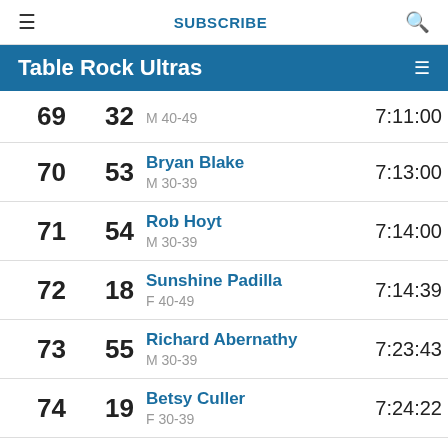≡  SUBSCRIBE  🔍
Table Rock Ultras
| Overall | Gender | Name / Category | Time |
| --- | --- | --- | --- |
| 69 | 32 | M 40-49 | 7:11:00 |
| 70 | 53 | Bryan Blake
M 30-39 | 7:13:00 |
| 71 | 54 | Rob Hoyt
M 30-39 | 7:14:00 |
| 72 | 18 | Sunshine Padilla
F 40-49 | 7:14:39 |
| 73 | 55 | Richard Abernathy
M 30-39 | 7:23:43 |
| 74 | 19 | Betsy Culler
F 30-39 | 7:24:22 |
| 75 | 20 | Amy Scott | 7:26:02 |